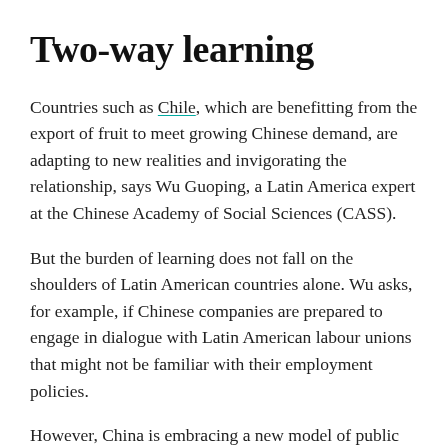Two-way learning
Countries such as Chile, which are benefitting from the export of fruit to meet growing Chinese demand, are adapting to new realities and invigorating the relationship, says Wu Guoping, a Latin America expert at the Chinese Academy of Social Sciences (CASS).
But the burden of learning does not fall on the shoulders of Latin American countries alone. Wu asks, for example, if Chinese companies are prepared to engage in dialogue with Latin American labour unions that might not be familiar with their employment policies.
However, China is embracing a new model of public private partnerships (PPP) in Latin America. This